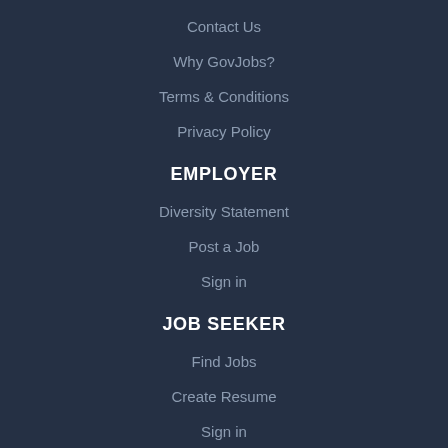Contact Us
Why GovJobs?
Terms & Conditions
Privacy Policy
EMPLOYER
Diversity Statement
Post a Job
Sign in
JOB SEEKER
Find Jobs
Create Resume
Sign in